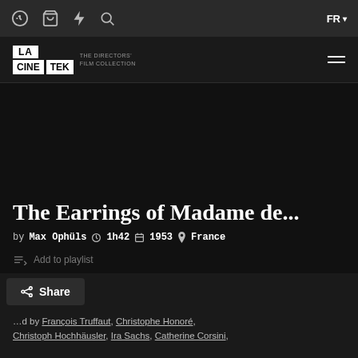Navigation bar with icons and FR language selector
[Figure (logo): La Cinetek - The Directors' Film Collection logo]
The Earrings of Madame de...
by Max Ophüls  1h42  1953  France
Add to playlist
Share
...d by François Truffaut, Christophe Honoré, Christoph Hochhäusler, Ira Sachs, Catherine Corsini,